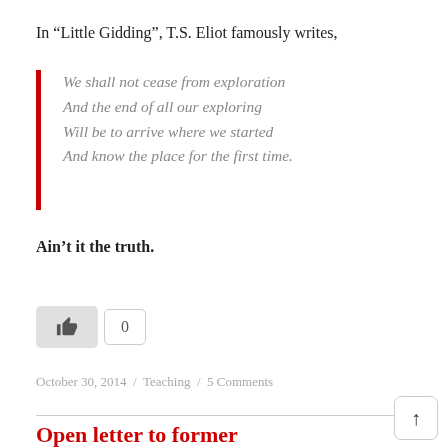In “Little Gidding”, T.S. Eliot famously writes,
We shall not cease from exploration
And the end of all our exploring
Will be to arrive where we started
And know the place for the first time.
Ain’t it the truth.
October 30, 2014 / Teaching / 5 Comments
Open letter to former